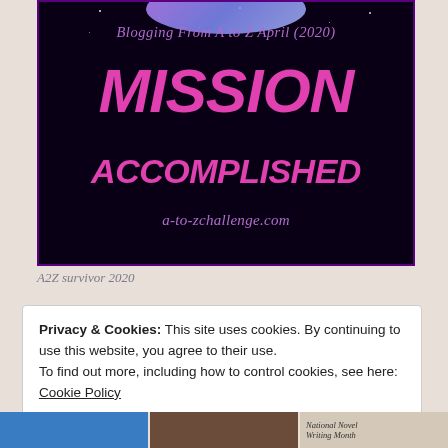[Figure (illustration): A2Z Blogging Challenge 2020 Mission Accomplished banner with purple/magenta text on dark galaxy background]
A2Z survivor 2020
Privacy & Cookies: This site uses cookies. By continuing to use this website, you agree to their use.
To find out more, including how to control cookies, see here:
Cookie Policy
Close and accept
[Figure (photo): Bottom strip with three small thumbnail images, the rightmost reading 'National Novel Writing Month']